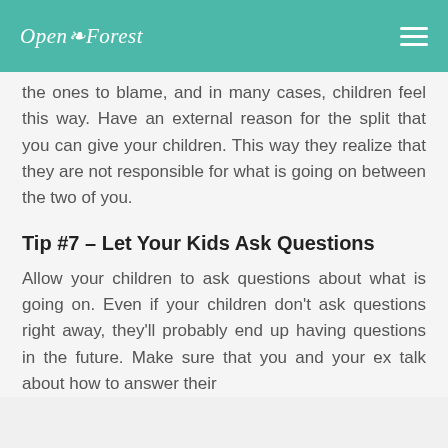Open Forest
the ones to blame, and in many cases, children feel this way. Have an external reason for the split that you can give your children. This way they realize that they are not responsible for what is going on between the two of you.
Tip #7 – Let Your Kids Ask Questions
Allow your children to ask questions about what is going on. Even if your children don't ask questions right away, they'll probably end up having questions in the future. Make sure that you and your ex talk about how to answer their